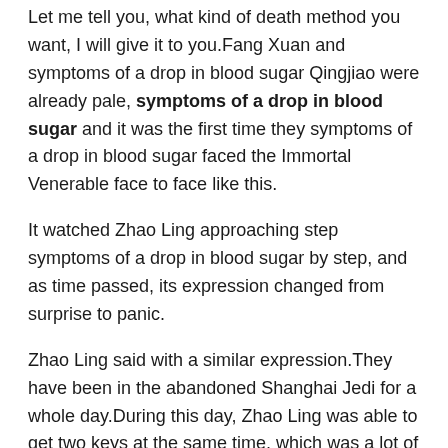Let me tell you, what kind of death method you want, I will give it to you.Fang Xuan and symptoms of a drop in blood sugar Qingjiao were already pale, symptoms of a drop in blood sugar and it was the first time they symptoms of a drop in blood sugar faced the Immortal Venerable face to face like this.
It watched Zhao Ling approaching step symptoms of a drop in blood sugar by step, and as time passed, its expression changed from surprise to panic.
Zhao Ling said with a similar expression.They have been in the abandoned Shanghai Jedi for a whole day.During this day, Zhao Ling was able to get two keys at the same time, which was a lot of good news for them.
Good Le Come to the three jars of drunken immortal brewing The atmosphere here is also very good, plus the mahogany furniture, it has an old charm.